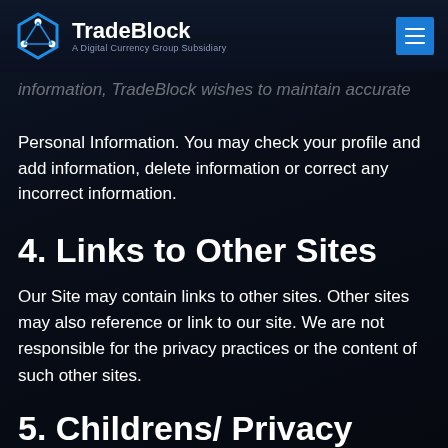TradeBlock — A Digital Currency Group Subsidiary
information, TradeBlock wishes to maintain accurate Personal Information. You may check your profile and add information, delete information or correct any incorrect information.
4. Links to Other Sites
Our Site may contain links to other sites. Other sites may also reference or link to our site. We are not responsible for the privacy practices or the content of such other sites.
5. Childrens/ Privacy